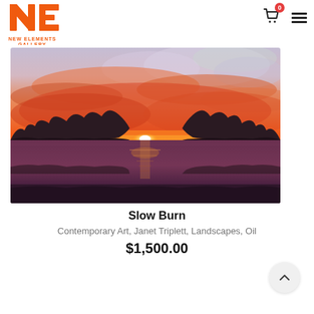[Figure (logo): New Elements Gallery logo — orange NE monogram letters with text 'NEW ELEMENTS GALLERY' below in orange]
[Figure (photo): Oil painting titled 'Slow Burn' — a dramatic sunset landscape with vibrant orange, red, and purple sky reflected over a calm body of water, dark silhouetted trees/vegetation on both sides]
Slow Burn
Contemporary Art, Janet Triplett, Landscapes, Oil
$1,500.00